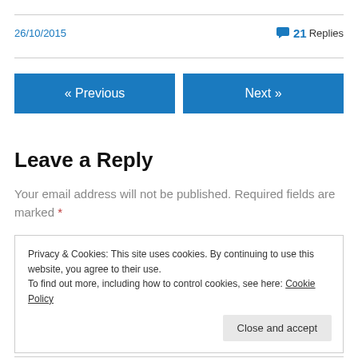26/10/2015
21 Replies
« Previous
Next »
Leave a Reply
Your email address will not be published. Required fields are marked *
Privacy & Cookies: This site uses cookies. By continuing to use this website, you agree to their use.
To find out more, including how to control cookies, see here: Cookie Policy
Close and accept